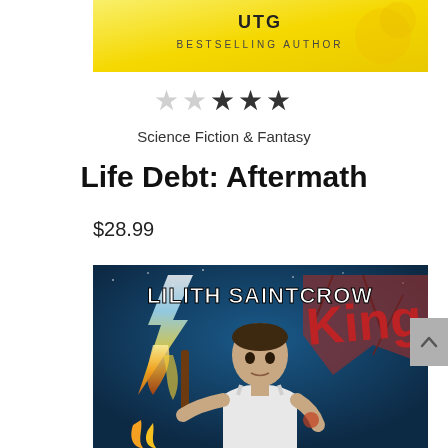[Figure (illustration): Top portion of a book cover with yellow/gold background showing partial text 'BESTSELLING AUTHOR' and partial author name ending in 'UTG' or similar]
[Figure (other): Star rating showing 2 out of 5 stars (first star empty/light, second through fifth: two filled dark, one partial, one filled dark)]
Science Fiction & Fantasy
Life Debt: Aftermath
$28.99
[Figure (illustration): Book cover for a Lilith Saintcrow book showing a young man in a white tank top holding a weapon with lightning and fire effects, text 'LILITH SAINTCROW' at top, graffiti-style letters in background]